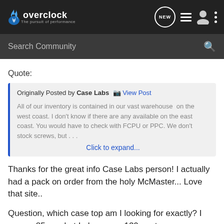[Figure (screenshot): Overclock.net website header with logo, NEW badge, list icon, profile icon, and more options icon]
[Figure (screenshot): Search Community search bar with magnifying glass icon]
Quote:
Originally Posted by Case Labs  View Post

All of our inventory is contained in our vast warehouse  on the west coast. I don't know if there are any available on the east coast. You would have to check with FCPU or PPC. We don't stock screws, but . . .

Click to expand...
Thanks for the great info Case Labs person! I actually had a pack on order from the holy McMaster... Love that site..
Question, which case top am I looking for exactly? I see an 85mm, but I also see a 120mm top cover.. What is the benefit of…